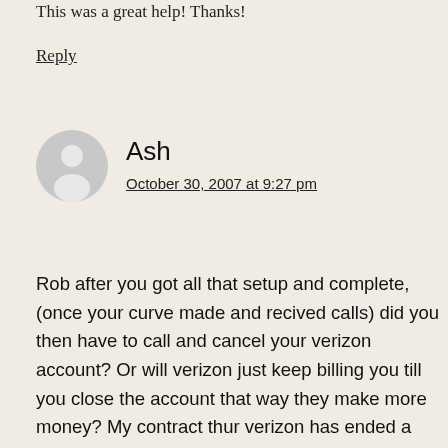This was a great help! Thanks!
Reply
Ash
October 30, 2007 at 9:27 pm
[Figure (illustration): Generic user avatar: gray circle with white silhouette of a person (head and shoulders)]
Rob after you got all that setup and complete, (once your curve made and recived calls) did you then have to call and cancel your verizon account? Or will verizon just keep billing you till you close the account that way they make more money? My contract thur verizon has ended a few months ago, if that makes a